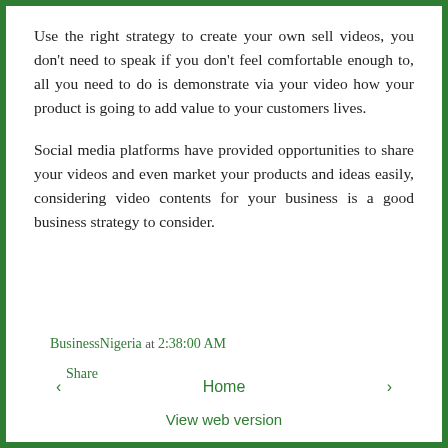Use the right strategy to create your own sell videos, you don't need to speak if you don't feel comfortable enough to, all you need to do is demonstrate via your video how your product is going to add value to your customers lives.
Social media platforms have provided opportunities to share your videos and even market your products and ideas easily, considering video contents for your business is a good business strategy to consider.
BusinessNigeria at 2:38:00 AM
Share
‹   Home   ›
View web version